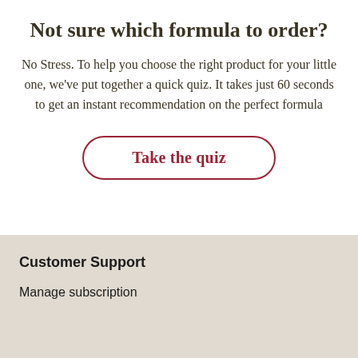Not sure which formula to order?
No Stress. To help you choose the right product for your little one, we've put together a quick quiz. It takes just 60 seconds to get an instant recommendation on the perfect formula
[Figure (other): A rounded rectangle button with dark red border and text reading 'Take the quiz']
Customer Support
Manage subscription